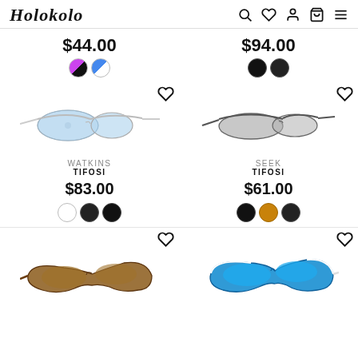Holokolo — navigation header with search, wishlist, account, cart, and menu icons
$44.00 — color swatches: purple/black half, blue/white half
$94.00 — color swatches: black, black
[Figure (photo): Tifosi Watkins sunglasses with clear frames and light blue lenses, side view]
[Figure (photo): Tifosi Seek sunglasses with dark grey frames and grey lenses, side view]
WATKINS
TIFOSI
$83.00 — color swatches: white/clear, black, dark black
SEEK
TIFOSI
$61.00 — color swatches: black, bronze/amber, black
[Figure (photo): Tifosi sunglasses with dark brown/smoke frames and brown lenses, wrap style]
[Figure (photo): Tifosi sunglasses with blue lenses and white frames, sporty wraparound style]